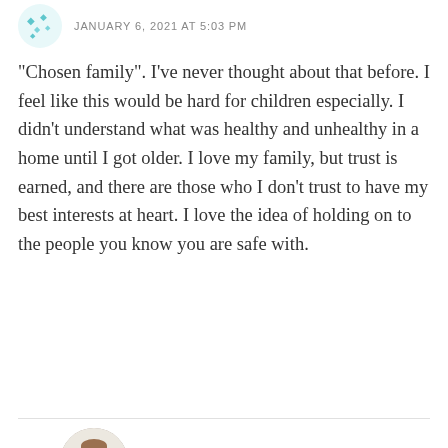JANUARY 6, 2021 AT 5:03 PM
“Chosen family”. I’ve never thought about that before. I feel like this would be hard for children especially. I didn't understand what was healthy and unhealthy in a home until I got older. I love my family, but trust is earned, and there are those who I don’t trust to have my best interests at heart. I love the idea of holding on to the people you know you are safe with.
Reply
jesusluvsall
JANUARY 6, 2021 AT 6:39 PM